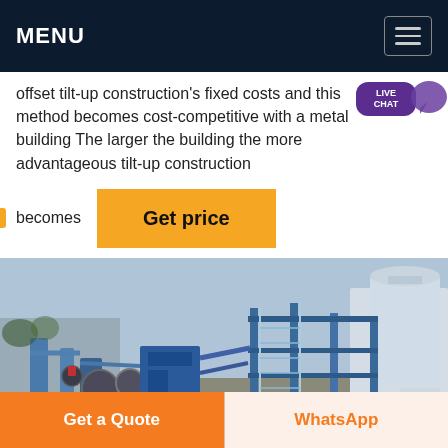MENU
offset tilt-up construction's fixed costs and this method becomes cost-competitive with a metal building The larger the building the more advantageous tilt-up construction
becomes
Get price
[Figure (photo): Aerial view of industrial construction site with blue metal framework, pipes, machinery, and a large cylindrical silo tank]
Get a Quote
WhatsApp